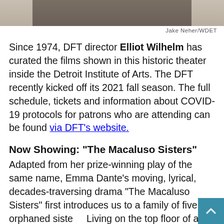[Figure (photo): Cropped photo showing lower portion of a person in a suit, hands clasped, with a beige/gray background.]
Jake Neher/WDET
Since 1974, DFT director Elliot Wilhelm has curated the films shown in this historic theater inside the Detroit Institute of Arts. The DFT recently kicked off its 2021 fall season. The full schedule, tickets and information about COVID-19 protocols for patrons who are attending can be found via DFT's website.
Now Showing: “The Macaluso Sisters”
Adapted from her prize-winning play of the same name, Emma Dante’s moving, lyrical, decades-traversing drama “The Macaluso Sisters” first introduces us to a family of five orphaned siste... Living on the top floor of a distressed building i... Palermo in the 1980s, the sisters create and rent out